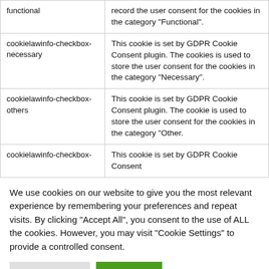| Cookie | Description |
| --- | --- |
| functional | record the user consent for the cookies in the category "Functional". |
| cookielawinfo-checkbox-necessary | This cookie is set by GDPR Cookie Consent plugin. The cookies is used to store the user consent for the cookies in the category "Necessary". |
| cookielawinfo-checkbox-others | This cookie is set by GDPR Cookie Consent plugin. The cookie is used to store the user consent for the cookies in the category "Other. |
| cookielawinfo-checkbox- | This cookie is set by GDPR Cookie Consent |
We use cookies on our website to give you the most relevant experience by remembering your preferences and repeat visits. By clicking "Accept All", you consent to the use of ALL the cookies. However, you may visit "Cookie Settings" to provide a controlled consent.